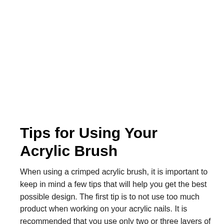Tips for Using Your Acrylic Brush
When using a crimped acrylic brush, it is important to keep in mind a few tips that will help you get the best possible design. The first tip is to not use too much product when working on your acrylic nails. It is recommended that you use only two or three layers of polish with your brush. This will ensure that your nails remain healthy and strong.